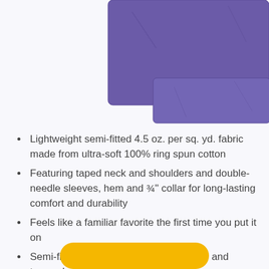[Figure (photo): Purple folded fabric/garment shown from above on white background]
Lightweight semi-fitted 4.5 oz. per sq. yd. fabric made from ultra-soft 100% ring spun cotton
Featuring taped neck and shoulders and double-needle sleeves, hem and ¾" collar for long-lasting comfort and durability
Feels like a familiar favorite the first time you put it on
Semi-fitted design with shaped armhole and tapered sleeve
[Figure (other): Yellow rounded rectangle button at bottom of page]